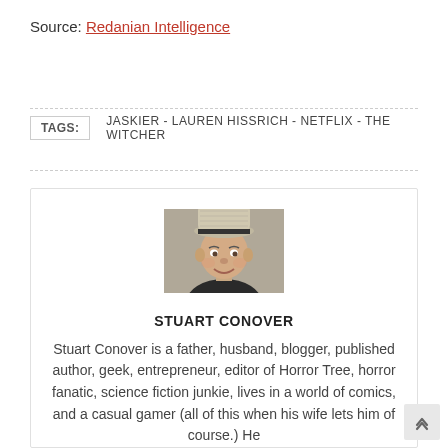Source: Redanian Intelligence
TAGS: JASKIER - LAUREN HISSRICH - NETFLIX - THE WITCHER
[Figure (photo): Headshot photo of Stuart Conover, a man wearing a patterned fedora hat and dark clothing, smiling at the camera.]
STUART CONOVER
Stuart Conover is a father, husband, blogger, published author, geek, entrepreneur, editor of Horror Tree, horror fanatic, science fiction junkie, lives in a world of comics, and a casual gamer (all of this when his wife lets him of course.) He